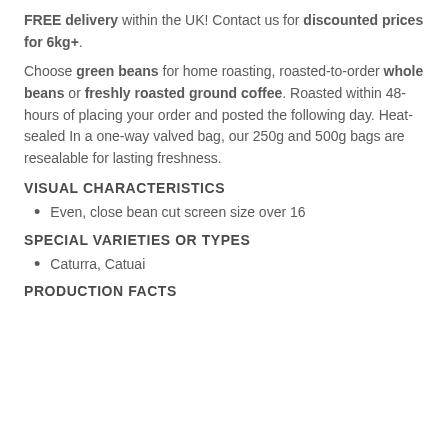FREE delivery within the UK! Contact us for discounted prices for 6kg+.
Choose green beans for home roasting, roasted-to-order whole beans or freshly roasted ground coffee. Roasted within 48-hours of placing your order and posted the following day. Heat-sealed In a one-way valved bag, our 250g and 500g bags are resealable for lasting freshness.
VISUAL CHARACTERISTICS
Even, close bean cut screen size over 16
SPECIAL VARIETIES OR TYPES
Caturra, Catuai
PRODUCTION FACTS